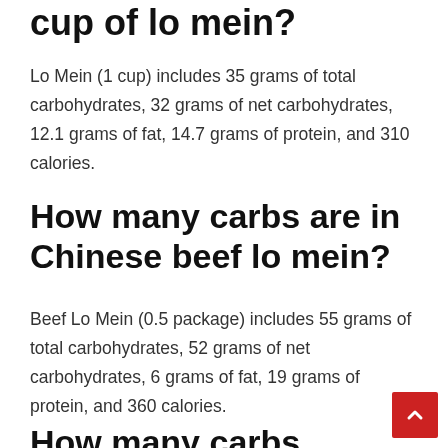cup of lo mein?
Lo Mein (1 cup) includes 35 grams of total carbohydrates, 32 grams of net carbohydrates, 12.1 grams of fat, 14.7 grams of protein, and 310 calories.
How many carbs are in Chinese beef lo mein?
Beef Lo Mein (0.5 package) includes 55 grams of total carbohydrates, 52 grams of net carbohydrates, 6 grams of fat, 19 grams of protein, and 360 calories.
How many carbs are in